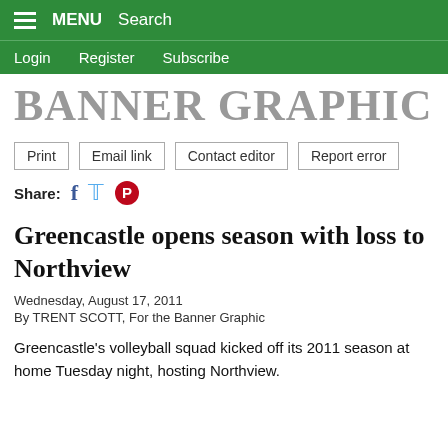MENU   Search
Login   Register   Subscribe
BANNER GRAPHIC
Print   Email link   Contact editor   Report error
Share:
Greencastle opens season with loss to Northview
Wednesday, August 17, 2011
By TRENT SCOTT, For the Banner Graphic
Greencastle's volleyball squad kicked off its 2011 season at home Tuesday night, hosting Northview.